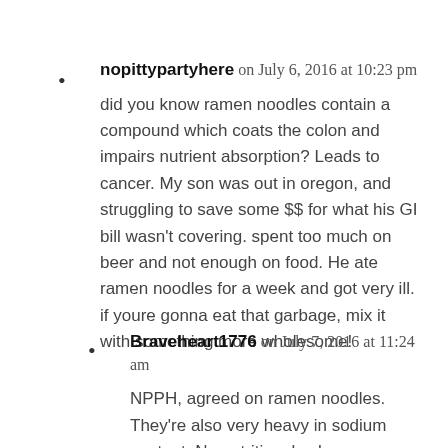nopittypartyhere on July 6, 2016 at 10:23 pm
did you know ramen noodles contain a compound which coats the colon and impairs nutrient absorption? Leads to cancer. My son was out in oregon, and struggling to save some $$ for what his GI bill wasn't covering. spent too much on beer and not enough on food. He ate ramen noodles for a week and got very ill. if youre gonna eat that garbage, mix it with something more wholesome!
Braveheart1776 on July 7, 2016 at 11:24 am
NPPH, agreed on ramen noodles. They're also very heavy in sodium content. No nutritional value whatsoever. There's plenty of storable food items out there that don't...